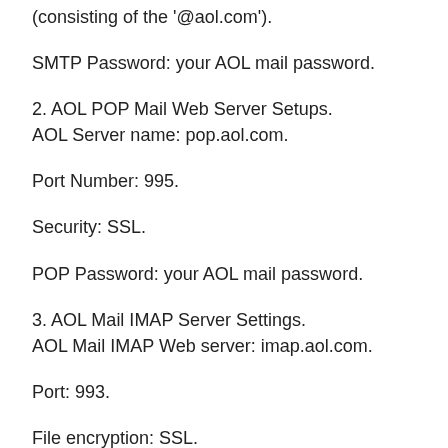(consisting of the '@aol.com').
SMTP Password: your AOL mail password.
2. AOL POP Mail Web Server Setups.
AOL Server name: pop.aol.com.
Port Number: 995.
Security: SSL.
POP Password: your AOL mail password.
3. AOL Mail IMAP Server Settings.
AOL Mail IMAP Web server: imap.aol.com.
Port: 993.
File encryption: SSL.
IMAP Password: your AOL e-mail password.